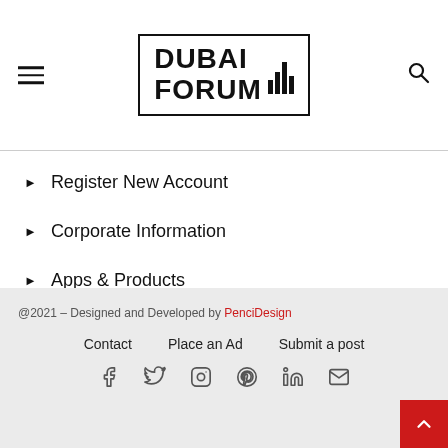[Figure (logo): Dubai Forum logo with bar chart icon inside a rectangular border]
Register New Account
Corporate Information
Apps & Products
NEWSLETTER
@2021 – Designed and Developed by PenciDesign
Contact   Place an Ad   Submit a post